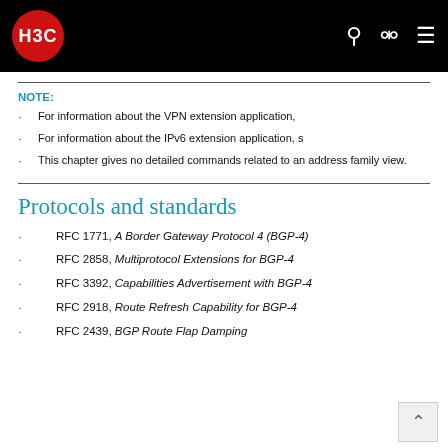[Figure (logo): H3C logo — white text on red circle, on black navigation bar with search and user icons]
NOTE:
For information about the VPN extension application,
For information about the IPv6 extension application, s
This chapter gives no detailed commands related to an address family view.
Protocols and standards
RFC 1771, A Border Gateway Protocol 4 (BGP-4)
RFC 2858, Multiprotocol Extensions for BGP-4
RFC 3392, Capabilities Advertisement with BGP-4
RFC 2918, Route Refresh Capability for BGP-4
RFC 2439, BGP Route Flap Damping